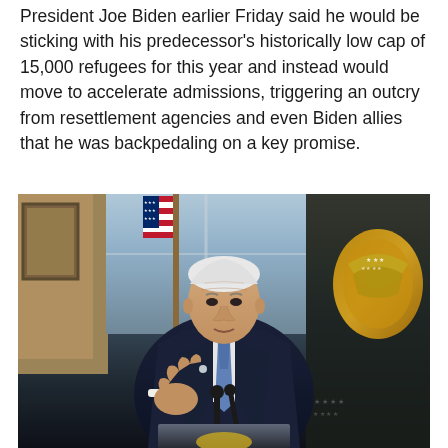President Joe Biden earlier Friday said he would be sticking with his predecessor's historically low cap of 15,000 refugees for this year and instead would move to accelerate admissions, triggering an outcry from resettlement agencies and even Biden allies that he was backpedaling on a key promise.
[Figure (photo): President Joe Biden standing at a podium, speaking, wearing a dark suit and blue tie, with an American flag on his left and the Presidential seal flag on his right, in what appears to be a White House room.]